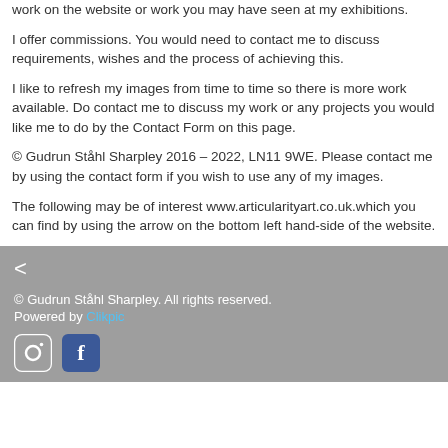work on the website or work you may have seen at my exhibitions.
I offer commissions. You would need to contact me to discuss requirements, wishes and the process of achieving this.
I like to refresh my images from time to time so there is more work available. Do contact me to discuss my work or any projects you would like me to do by the Contact Form on this page.
© Gudrun Ståhl Sharpley 2016 – 2022, LN11 9WE. Please contact me by using the contact form if you wish to use any of my images.
The following may be of interest www.articularityart.co.uk.which you can find by using the arrow on the bottom left hand-side of the website.
© Gudrun Ståhl Sharpley. All rights reserved. Powered by Clikpic